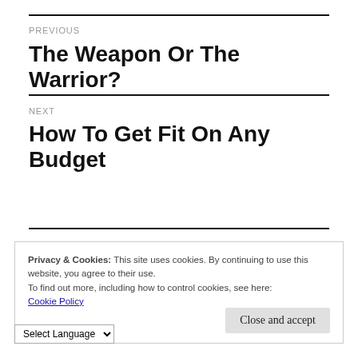PREVIOUS
The Weapon Or The Warrior?
NEXT
How To Get Fit On Any Budget
Privacy & Cookies: This site uses cookies. By continuing to use this website, you agree to their use.
To find out more, including how to control cookies, see here:
Cookie Policy
Close and accept
Select Language